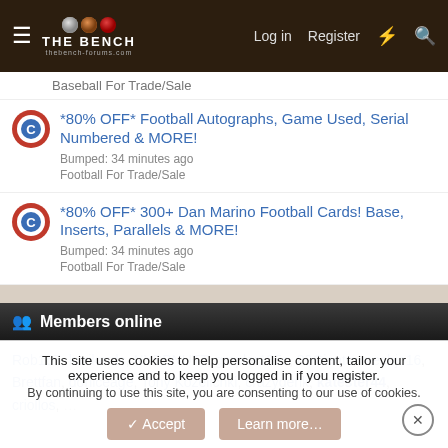THE BENCH — Log in | Register
Baseball For Trade/Sale
*80% OFF* Football Autographs, Game Used, Serial Numbered & MORE! — Bumped: 34 minutes ago — Football For Trade/Sale
*80% OFF* 300+ Dan Marino Football Cards! Base, Inserts, Parallels & MORE! — Bumped: 34 minutes ago — Football For Trade/Sale
Members online
Rob167, karikards, NYBBNUTT, grapler135s, 89Giants, mechjo16, Brettfan, doniceage, Tony Kozelichki, crazyderik, katester44, criollos, ...
This site uses cookies to help personalise content, tailor your experience and to keep you logged in if you register. By continuing to use this site, you are consenting to our use of cookies.